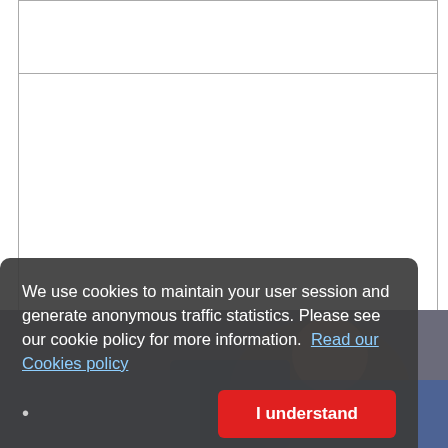[Figure (photo): A webpage screenshot showing a table with two rows and a cookie consent overlay banner. The bottom portion shows a photo of a person. The cookie banner has dark semi-transparent background with white text and a red 'I understand' button.]
We use cookies to maintain your user session and generate anonymous traffic statistics. Please see our cookie policy for more information. Read our Cookies policy
I understand